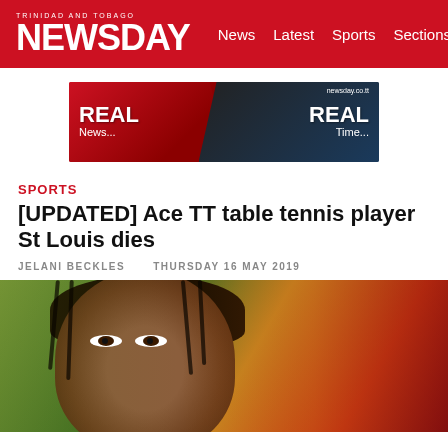TRINIDAD AND TOBAGO NEWSDAY — News  Latest  Sports  Sections
[Figure (photo): Newsday advertisement banner: REAL News... REAL Time... with image of man in suit, newsday.co.tt]
SPORTS
[UPDATED] Ace TT table tennis player St Louis dies
JELANI BECKLES    THURSDAY 16 MAY 2019
[Figure (photo): Close-up photo of TT table tennis player with dreadlocks and intense expression, colorful blurred background]